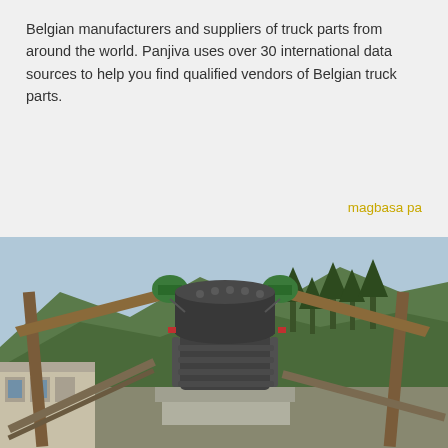Belgian manufacturers and suppliers of truck parts from around the world. Panjiva uses over 30 international data sources to help you find qualified vendors of Belgian truck parts.
magbasa pa
[Figure (photo): Industrial cone crusher machine photographed outdoors under a metal frame structure, with mountains and trees in the background and industrial buildings on the left side.]